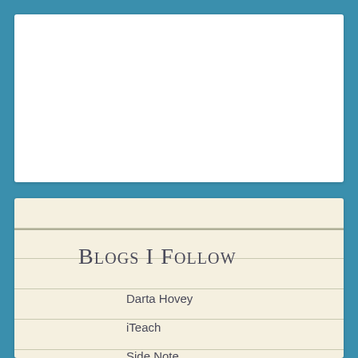[Figure (other): White rectangular card on teal background (top portion, content not shown)]
Blogs I Follow
Darta Hovey
iTeach
Side Note
Teaching with Miss S!